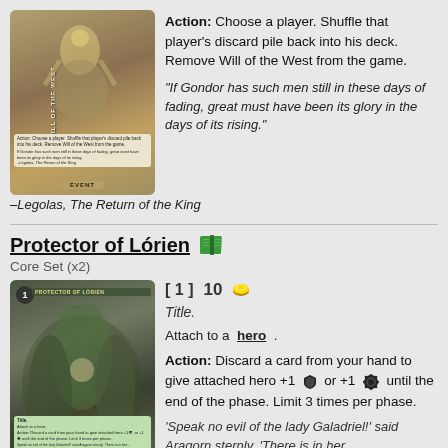[Figure (illustration): Card art for 'Will of the West' event card from Lord of the Rings LCG. Shows a warrior figure with glowing light.]
Action: Choose a player. Shuffle that player's discard pile back into his deck. Remove Will of the West from the game.
"If Gondor has such men still in these days of fading, great must have been its glory in the days of its rising."
–Legolas, The Return of the King
Protector of Lórien
Core Set (x2)
[Figure (illustration): Card art for 'Protector of Lorien' attachment card from Lord of the Rings LCG. Shows a robed figure in a forest setting.]
[ 1 ]   10
Title.
Attach to a hero .
Action: Discard a card from your hand to give attached hero +1 or +1 until the end of the phase. Limit 3 times per phase.
'Speak no evil of the lady Galadriel!' said Aragorn sternly. 'There is in her